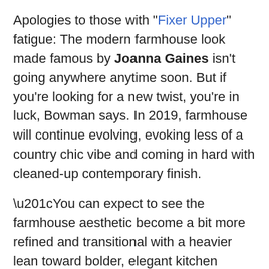Apologies to those with "Fixer Upper" fatigue: The modern farmhouse look made famous by Joanna Gaines isn't going anywhere anytime soon. But if you're looking for a new twist, you're in luck, Bowman says. In 2019, farmhouse will continue evolving, evoking less of a country chic vibe and coming in hard with cleaned-up contemporary finish.
“You can expect to see the farmhouse aesthetic become a bit more refined and transitional with a heavier lean toward bolder, elegant kitchen designs,” she says.
“Think of it like this: Farmhouse went to rehab and took a nice, long nap,” adds Justin Riordan, founder of Portland, OR–based Spade and Archer Design Agency. “The modern farmhouse aesthetic...